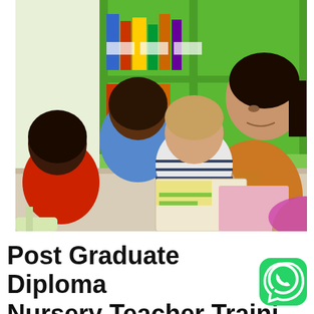[Figure (photo): A female teacher in an orange sweater sits at a table with three young children in a classroom with green bookshelves, looking at a book together. The children include a boy in a striped shirt, another in a blue shirt, and one in red.]
Post Graduate Diploma in Nursery Teacher Traini...